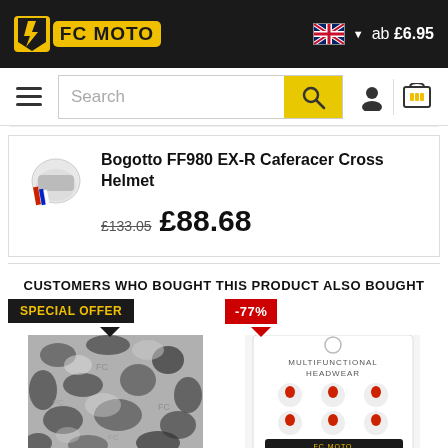FC Moto — ab £6.95
Search
Bogotto FF980 EX-R Caferacer Cross Helmet £133.05 £88.68
CUSTOMERS WHO BOUGHT THIS PRODUCT ALSO BOUGHT
[Figure (photo): Product card with SPECIAL OFFER badge showing a camouflage pattern textile item]
[Figure (photo): Product card with -77% discount badge showing a multifunctional headwear product packaging]